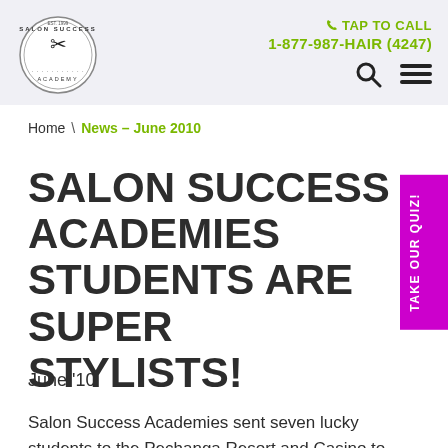TAP TO CALL 1-877-987-HAIR (4247)
Home \ News – June 2010
SALON SUCCESS ACADEMIES STUDENTS ARE SUPER STYLISTS!
June '10
Salon Success Academies sent seven lucky students to the Pechanga Resort and Casino to